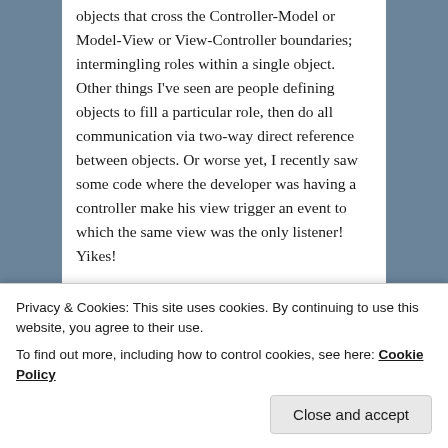objects that cross the Controller-Model or Model-View or View-Controller boundaries; intermingling roles within a single object. Other things I've seen are people defining objects to fill a particular role, then do all communication via two-way direct reference between objects. Or worse yet, I recently saw some code where the developer was having a controller make his view trigger an event to which the same view was the only listener! Yikes!

One could just call it stupidity on the part of the developers, but I'll be more forgiving and say that all that boils down to simple ignorance of how the objects – and more importantly, how objects communicate in any MVC system – should work; or just plain ignorance of what MVC is all about.
Privacy & Cookies: This site uses cookies. By continuing to use this website, you agree to their use.
To find out more, including how to control cookies, see here: Cookie Policy